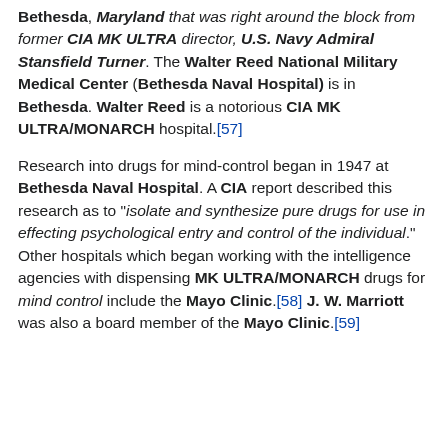Bethesda, Maryland that was right around the block from former CIA MK ULTRA director, U.S. Navy Admiral Stansfield Turner. The Walter Reed National Military Medical Center (Bethesda Naval Hospital) is in Bethesda. Walter Reed is a notorious CIA MK ULTRA/MONARCH hospital.[57]
Research into drugs for mind-control began in 1947 at Bethesda Naval Hospital. A CIA report described this research as to "isolate and synthesize pure drugs for use in effecting psychological entry and control of the individual." Other hospitals which began working with the intelligence agencies with dispensing MK ULTRA/MONARCH drugs for mind control include the Mayo Clinic.[58] J. W. Marriott was also a board member of the Mayo Clinic.[59]